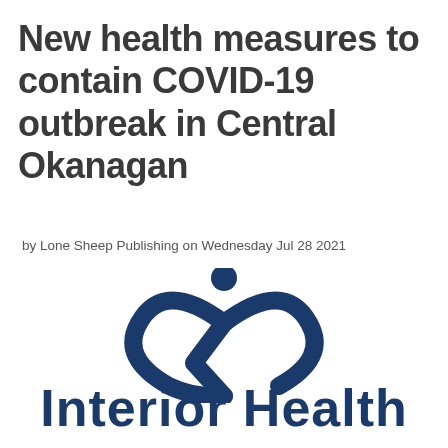New health measures to contain COVID-19 outbreak in Central Okanagan
by Lone Sheep Publishing on Wednesday Jul 28 2021
[Figure (logo): Interior Health logo: stylized figure with a checkmark/swoosh design in dark navy blue]
Interior Health